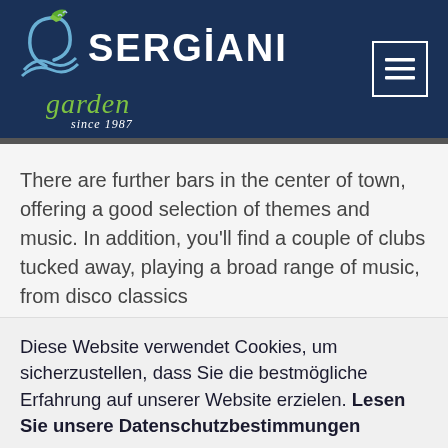[Figure (logo): Sergiani Garden logo with stylized plant/wave icon on dark navy background, text: SERGIANI garden since 1987]
There are further bars in the center of town, offering a good selection of themes and music. In addition, you'll find a couple of clubs tucked away, playing a broad range of music, from disco classics
Diese Website verwendet Cookies, um sicherzustellen, dass Sie die bestmögliche Erfahrung auf unserer Website erzielen. Lesen Sie unsere Datenschutzbestimmungen
ICH HABS